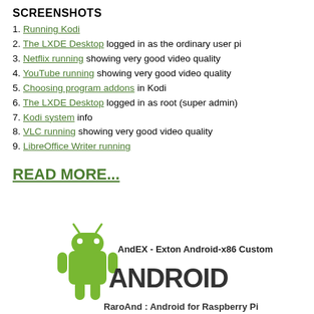SCREENSHOTS
1. Running Kodi
2. The LXDE Desktop logged in as the ordinary user pi
3. Netflix running showing very good video quality
4. YouTube running showing very good video quality
5. Choosing program addons in Kodi
6. The LXDE Desktop logged in as root (super admin)
7. Kodi system info
8. VLC running showing very good video quality
9. LibreOffice Writer running
READ MORE...
[Figure (logo): Android logo with text: AndEX - Exton Android-x86 Custom, ANDROID, RaroAnd : Android for Raspberry Pi]